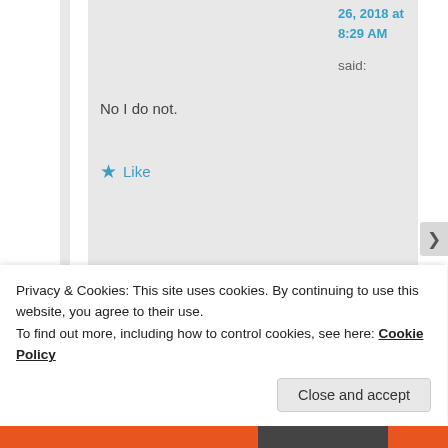26, 2018 at 8:29 AM
said:
No I do not.
★ Like
esmeelafleur on August 26, 2018 at 8:30 AM
Privacy & Cookies: This site uses cookies. By continuing to use this website, you agree to their use.
To find out more, including how to control cookies, see here: Cookie Policy
Close and accept